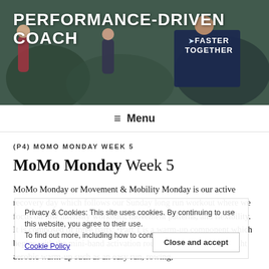[Figure (photo): Hero banner photo of runners in a group race/training session, with 'PERFORMANCE-DRIVEN COACH' text overlay in white on left and a blue shirt with 'FASTER TOGETHER' text visible on the right side of the image.]
≡ Menu
(P4) MOMO MONDAY WEEK 5
MoMo Monday Week 5
MoMo Monday or Movement & Mobility Monday is our active recovery day which follows our Sunday long run workout where we focus on low intensity workouts, movement patterns, and flexibility. It is composed of three parts: •Part 1 is a warm-up component which begins with the mini-band activation routine and a choice of a light aerobic warm-up such as an easy run, rowing,
Privacy & Cookies: This site uses cookies. By continuing to use this website, you agree to their use. To find out more, including how to control cookies, see here: Cookie Policy